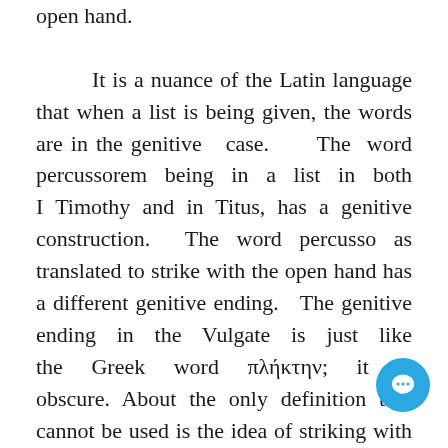open hand.

 It is a nuance of the Latin language that when a list is being given, the words are in the genitive case. The word percussorem being in a list in both I Timothy and in Titus, has a genitive construction. The word percusso as translated to strike with the open hand has a different genitive ending. The genitive ending in the Vulgate is just like the Greek word πλήκτην; it is obscure. About the only definition that cannot be used is the idea of striking with the open hand. Had the KJV translators wanted to imply a person who hits people